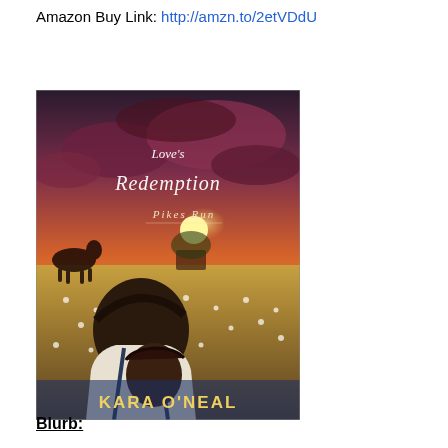Amazon Buy Link: http://amzn.to/2etVDdU
[Figure (illustration): Book cover for 'Love's Redemption - Pikes Run' by Kara O'Neal. Shows a man and woman in a romantic embrace in a field of wildflowers at sunset, with a horse-drawn carriage in the background.]
Blurb: